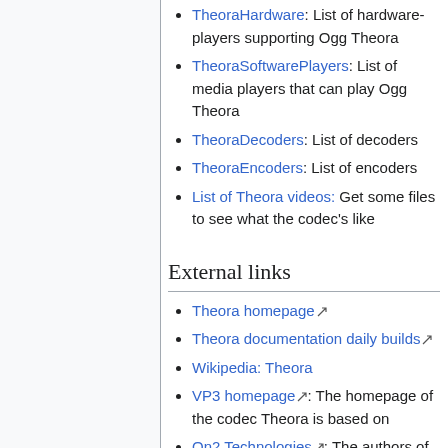TheoraHardware: List of hardware-players supporting Ogg Theora
TheoraSoftwarePlayers: List of media players that can play Ogg Theora
TheoraDecoders: List of decoders
TheoraEncoders: List of encoders
List of Theora videos: Get some files to see what the codec's like
External links
Theora homepage
Theora documentation daily builds
Wikipedia: Theora
VP3 homepage: The homepage of the codec Theora is based on
On2 Technologies: The authors of VP3
Ogg Theora Information on Doom9